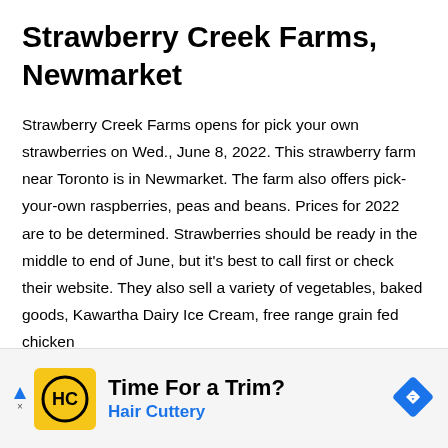Strawberry Creek Farms, Newmarket
Strawberry Creek Farms opens for pick your own strawberries on Wed., June 8, 2022. This strawberry farm near Toronto is in Newmarket. The farm also offers pick-your-own raspberries, peas and beans. Prices for 2022 are to be determined. Strawberries should be ready in the middle to end of June, but it’s best to call first or check their website. They also sell a variety of vegetables, baked goods, Kawartha Dairy Ice Cream, free range grain fed chicken
Sheldon Creek milk products, pastas and pasta sauces
[Figure (other): Advertisement banner: Hair Cuttery ad with yellow logo, 'Time For a Trim?' headline, 'Hair Cuttery' brand name in blue, and a blue navigation diamond icon on the right.]